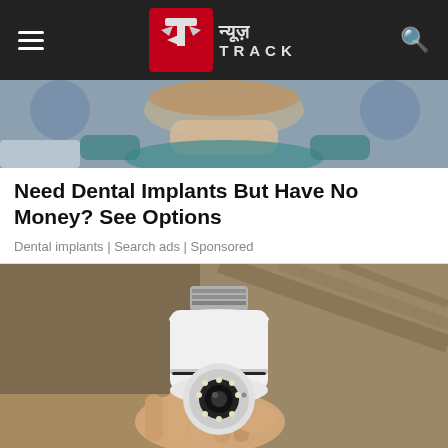[Figure (logo): News Track logo with Hindi text न्यूज़ and TRACK in red/silver style on dark header bar]
[Figure (photo): Partial photo of a dental patient (woman reclining with teal dental bib visible, chin and neck area)]
Need Dental Implants But Have No Money? See Options
Dental implants | Search ads | Sponsored
[Figure (photo): Hand holding a white light-bulb shaped security camera device with a round camera lens and LED ring]